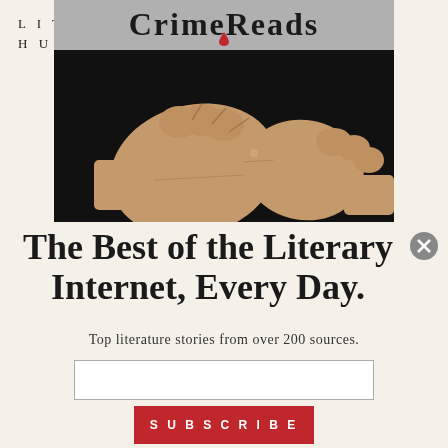LIT HUB
[Figure (photo): Top portion shows CrimeReads logo text on gray background with red blood drop, bottom portion shows two wooden articulated mannequin hands fist-bumping against black background]
The Best of the Literary Internet, Every Day.
Top literature stories from over 200 sources.
SUBSCRIBE